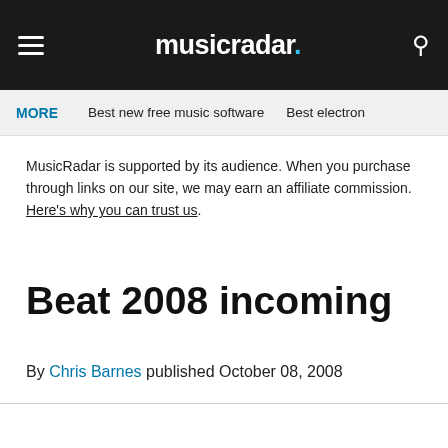musicradar.
MORE   Best new free music software   Best electron
MusicRadar is supported by its audience. When you purchase through links on our site, we may earn an affiliate commission. Here's why you can trust us.
Beat 2008 incoming
By Chris Barnes published October 08, 2008